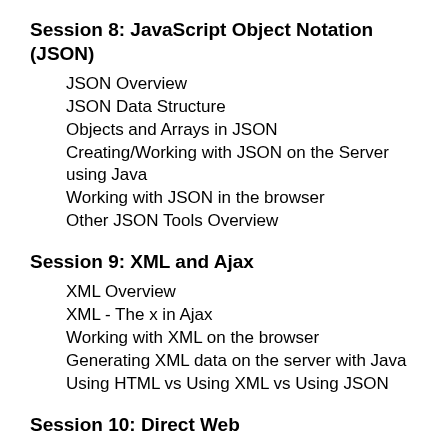Session 8: JavaScript Object Notation (JSON)
JSON Overview
JSON Data Structure
Objects and Arrays in JSON
Creating/Working with JSON on the Server using Java
Working with JSON in the browser
Other JSON Tools Overview
Session 9: XML and Ajax
XML Overview
XML - The x in Ajax
Working with XML on the browser
Generating XML data on the server with Java
Using HTML vs Using XML vs Using JSON
Session 10: Direct Web